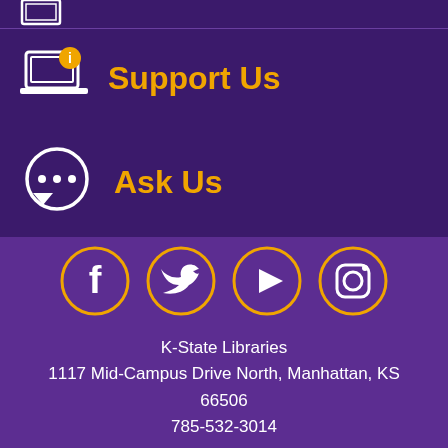[Figure (illustration): Partial icon of a laptop at top of page, partially cropped]
Support Us
Ask Us
[Figure (illustration): Social media icons: Facebook, Twitter, YouTube, Instagram in gold circles on purple background with K-State seal watermark]
K-State Libraries
1117 Mid-Campus Drive North, Manhattan, KS 66506
785-532-3014